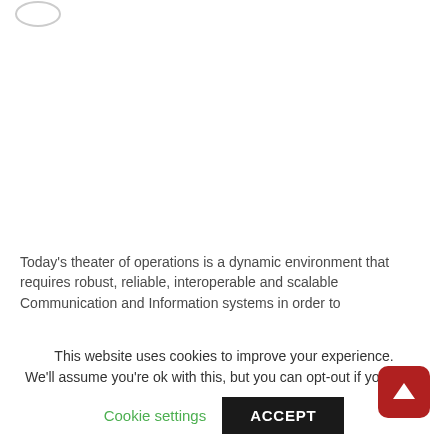Today's theater of operations is a dynamic environment that requires robust, reliable, interoperable and scalable Communication and Information systems in order to
This website uses cookies to improve your experience. We'll assume you're ok with this, but you can opt-out if you wish.
Cookie settings   ACCEPT